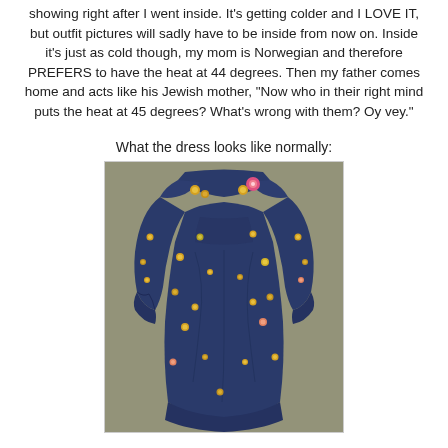showing right after I went inside. It's getting colder and I LOVE IT, but outfit pictures will sadly have to be inside from now on. Inside it's just as cold though, my mom is Norwegian and therefore PREFERS to have the heat at 44 degrees. Then my father comes home and acts like his Jewish mother, "Now who in their right mind puts the heat at 45 degrees? What's wrong with them? Oy vey."
What the dress looks like normally:
[Figure (photo): A navy blue long-sleeve dress with small colorful embroidered flower/dot patterns, photographed flat against a light yellow background. The dress has a ruffled collar area and gathered cuffs.]